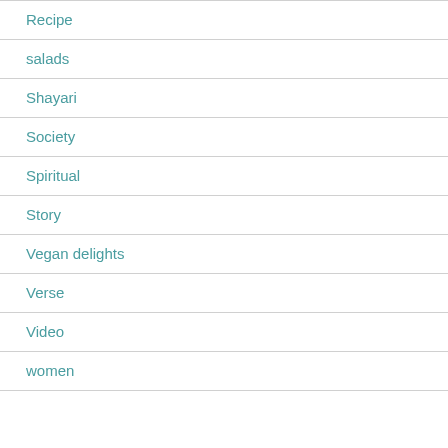Recipe
salads
Shayari
Society
Spiritual
Story
Vegan delights
Verse
Video
women